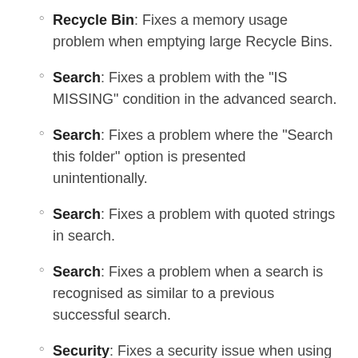Recycle Bin: Fixes a memory usage problem when emptying large Recycle Bins.
Search: Fixes a problem with the "IS MISSING" condition in the advanced search.
Search: Fixes a problem where the "Search this folder" option is presented unintentionally.
Search: Fixes a problem with quoted strings in search.
Search: Fixes a problem when a search is recognised as similar to a previous successful search.
Security: Fixes a security issue when using password protected folders.